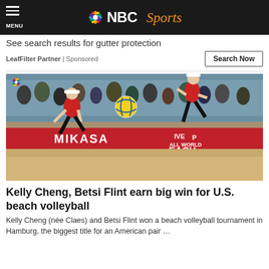NBC Sports
See search results for gutter protection
LeafFilter Partner | Sponsored
[Figure (photo): Two female beach volleyball players competing on a sandy court. One player in red and black uniform is low digging the ball while another player in red and white uniform is running. A MIKASA branded banner is visible in the background with a crowd watching. An NBC peacock logo is visible in the top-left corner of the photo.]
Kelly Cheng, Betsi Flint earn big win for U.S. beach volleyball
Kelly Cheng (née Claes) and Betsi Flint won a beach volleyball tournament in Hamburg, the biggest title for an American pair …